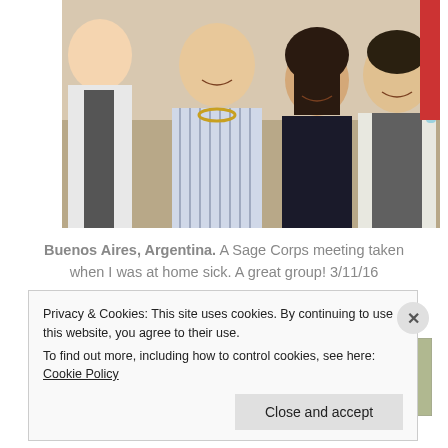[Figure (photo): Group photo of several smiling young people, a Sage Corps meeting in Buenos Aires, Argentina, taken on 3/11/16.]
Buenos Aires, Argentina. A Sage Corps meeting taken when I was at home sick. A great group! 3/11/16
[Figure (screenshot): Advertisement banner with text 'immersive stories.' on a blue/teal background, with an image of a person in a yellow jacket near a waterfall on the right side.]
Privacy & Cookies: This site uses cookies. By continuing to use this website, you agree to their use.
To find out more, including how to control cookies, see here: Cookie Policy
Close and accept